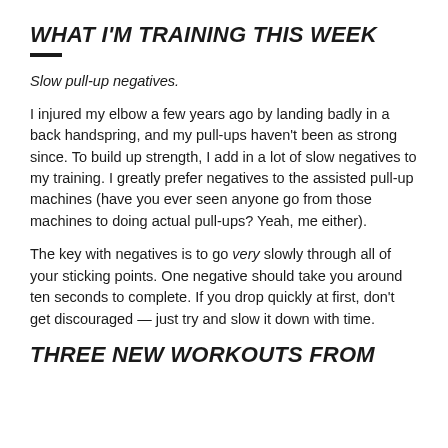WHAT I'M TRAINING THIS WEEK
Slow pull-up negatives.
I injured my elbow a few years ago by landing badly in a back handspring, and my pull-ups haven't been as strong since. To build up strength, I add in a lot of slow negatives to my training. I greatly prefer negatives to the assisted pull-up machines (have you ever seen anyone go from those machines to doing actual pull-ups? Yeah, me either).
The key with negatives is to go very slowly through all of your sticking points. One negative should take you around ten seconds to complete. If you drop quickly at first, don't get discouraged — just try and slow it down with time.
THREE NEW WORKOUTS FROM